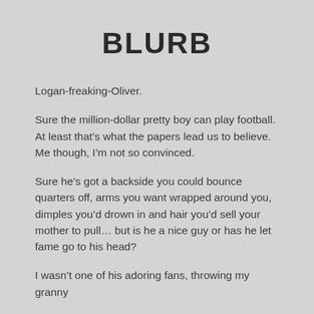BLURB
Logan-freaking-Oliver.
Sure the million-dollar pretty boy can play football. At least that’s what the papers lead us to believe. Me though, I’m not so convinced.
Sure he’s got a backside you could bounce quarters off, arms you want wrapped around you, dimples you’d drown in and hair you’d sell your mother to pull… but is he a nice guy or has he let fame go to his head?
I wasn’t one of his adoring fans, throwing my granny